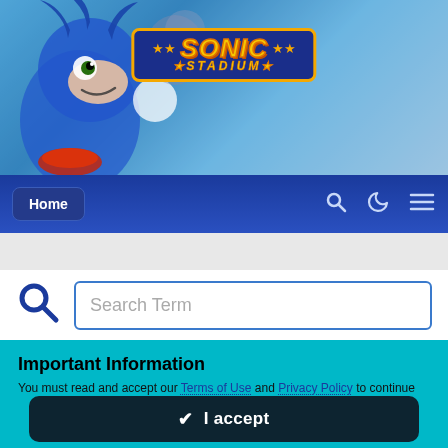[Figure (screenshot): Sonic Stadium website header banner with Sonic the Hedgehog character artwork and logo on a blue background]
Home
[Figure (illustration): Search bar with magnifying glass icon and text input field labeled 'Search Term']
Important Information
You must read and accept our Terms of Use and Privacy Policy to continue using this website. We have placed cookies on your device to help make this website better. You can adjust your cookie settings, otherwise we'll assume you're okay to continue.
✔ I accept